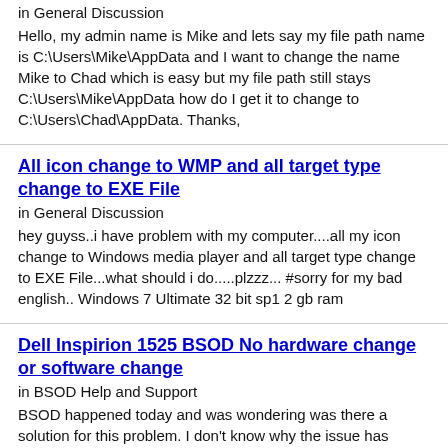in General Discussion
Hello, my admin name is Mike and lets say my file path name is C:\Users\Mike\AppData and I want to change the name Mike to Chad which is easy but my file path still stays C:\Users\Mike\AppData how do I get it to change to C:\Users\Chad\AppData. Thanks,
All icon change to WMP and all target type change to EXE File
in General Discussion
hey guyss..i have problem with my computer....all my icon change to Windows media player and all target type change to EXE File...what should i do.....plzzz... #sorry for my bad english.. Windows 7 Ultimate 32 bit sp1 2 gb ram
Dell Inspirion 1525 BSOD No hardware change or software change
in BSOD Help and Support
BSOD happened today and was wondering was there a solution for this problem. I don't know why the issue has